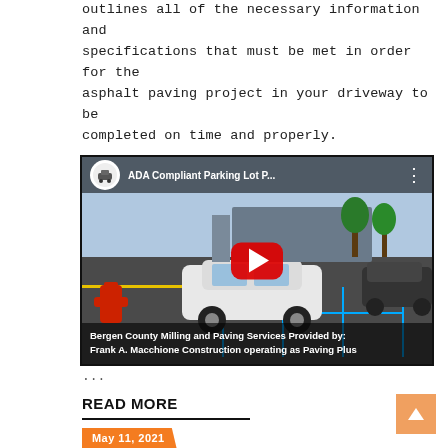outlines all of the necessary information and specifications that must be met in order for the asphalt paving project in your driveway to be completed on time and properly.
[Figure (screenshot): YouTube video thumbnail showing a parking lot with a white car and blue ADA parking markings. Title: 'ADA Compliant Parking Lot P...' with Bergen County Milling and Paving Services caption.]
...
READ MORE
May 11, 2021